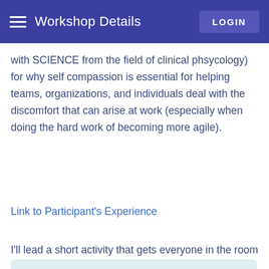Workshop Details | LOGIN
with SCIENCE from the field of clinical phsycology) for why self compassion is essential for helping teams, organizations, and individuals deal with the discomfort that can arise at work (especially when doing the hard work of becoming more agile).
Link to Participant's Experience
I'll lead a short activity that gets everyone in the room
This website uses cookies to give you a seamless experience. Learn more
Got it!
to
coaches and mentors experience more of this